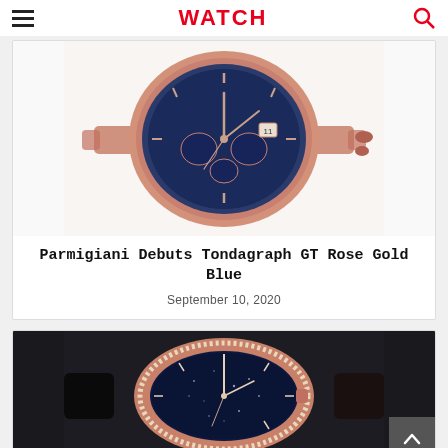WATCH
[Figure (photo): Rose gold chronograph watch with blue dial and rose gold bracelet — Parmigiani Tondagraph GT Rose Gold Blue]
Parmigiani Debuts Tondagraph GT Rose Gold Blue
September 10, 2020
[Figure (photo): Rose gold watch with diamond bezel, blue aventurine starry dial and black leather strap]